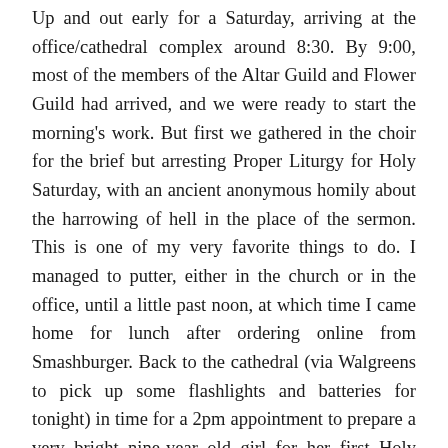Up and out early for a Saturday, arriving at the office/cathedral complex around 8:30. By 9:00, most of the members of the Altar Guild and Flower Guild had arrived, and we were ready to start the morning's work. But first we gathered in the choir for the brief but arresting Proper Liturgy for Holy Saturday, with an ancient anonymous homily about the harrowing of hell in the place of the sermon. This is one of my very favorite things to do. I managed to putter, either in the church or in the office, until a little past noon, at which time I came home for lunch after ordering online from Smashburger. Back to the cathedral (via Walgreens to pick up some flashlights and batteries for tonight) in time for a 2pm appointment to prepare a very bright nine-year old girl for her first Holy Communion, then a 3pm rehearsal for the participants in the Easter Vigil liturgy. Around 4:15, I was able to come home, where I napped, watched a little TV, ate dinner and then headed back with Brenda for her 7pm call time with